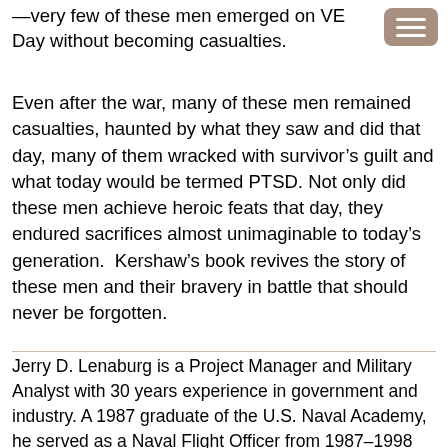—very few of these men emerged on VE Day without becoming casualties.
Even after the war, many of these men remained casualties, haunted by what they saw and did that day, many of them wracked with survivor's guilt and what today would be termed PTSD. Not only did these men achieve heroic feats that day, they endured sacrifices almost unimaginable to today's generation.  Kershaw's book revives the story of these men and their bravery in battle that should never be forgotten.
Jerry D. Lenaburg is a Project Manager and Military Analyst with 30 years experience in government and industry. A 1987 graduate of the U.S. Naval Academy, he served as a Naval Flight Officer from 1987–1998 and has published in the Journal of Military History.